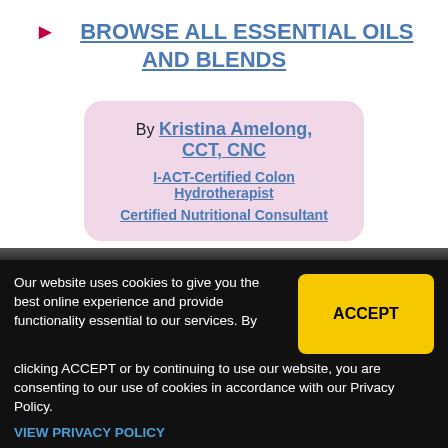BROWSE ALL ESSENTIAL OILS AND BLENDS
By Kristina Amelong, CCT, CNC
I-ACT-Certified Colon Hydrotherapist
Certified Nutritional Consultant
Our website uses cookies to give you the best online experience and provide functionality essential to our services. By clicking ACCEPT or by continuing to use our website, you are consenting to our use of cookies in accordance with our Privacy Policy.
ACCEPT
VIEW PRIVACY POLICY